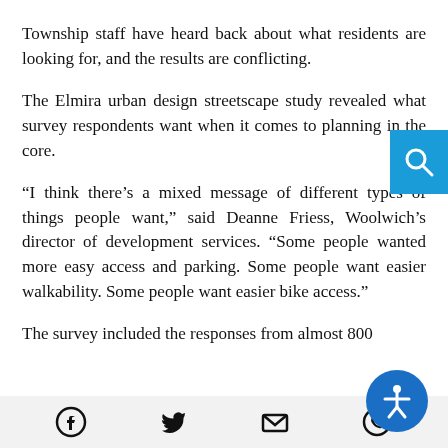Township staff have heard back about what residents are looking for, and the results are conflicting.
The Elmira urban design streetscape study revealed what survey respondents want when it comes to planning in the core.
“I think there’s a mixed message of different types of things people want,” said Deanne Friess, Woolwich’s director of development services. “Some people wanted more easy access and parking. Some people want easier walkability. Some people want easier bike access.”
The survey included the responses from almost 800
[Figure (other): Blue search button icon (magnifying glass) in top right corner]
[Figure (other): Blue circular accessibility icon (person with arms out) on right side]
[Figure (other): Footer bar with social sharing icons: Facebook, Twitter/X, Email, WhatsApp]